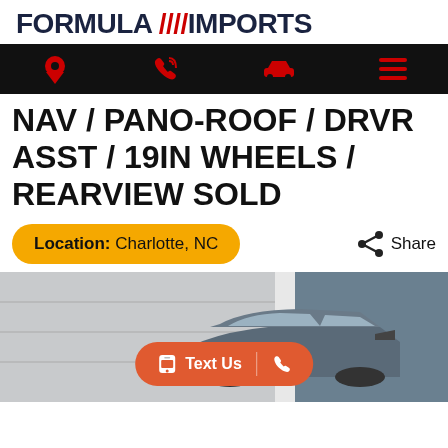[Figure (logo): Formula Imports logo with red diagonal slashes between FORMULA and IMPORTS text]
[Figure (infographic): Black navigation bar with four red icons: location pin, phone, car, and hamburger menu]
NAV / PANO-ROOF / DRVR ASST / 19IN WHEELS / REARVIEW SOLD
Location: Charlotte, NC
Share
[Figure (photo): Partial view of a dark gray car (BMW SUV/wagon) in a parking area with gray wall background, with a Text Us / phone call button overlay]